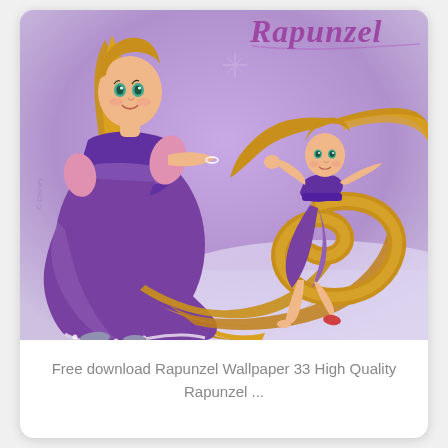[Figure (illustration): Disney Rapunzel wallpaper illustration showing two versions of Rapunzel character on a purple sparkly background. Large Rapunzel in purple dress with long golden hair on the left, smaller running Rapunzel with flowing hair on the right. 'Rapunzel' title text in purple cursive at top right.]
Free download Rapunzel Wallpaper 33 High Quality Rapunzel ...